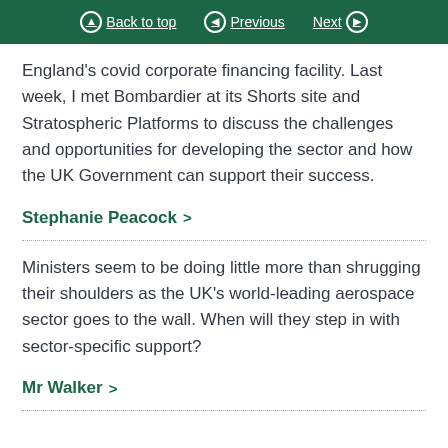Back to top | Previous | Next
England's covid corporate financing facility. Last week, I met Bombardier at its Shorts site and Stratospheric Platforms to discuss the challenges and opportunities for developing the sector and how the UK Government can support their success.
Stephanie Peacock >
Ministers seem to be doing little more than shrugging their shoulders as the UK's world-leading aerospace sector goes to the wall. When will they step in with sector-specific support?
Mr Walker >